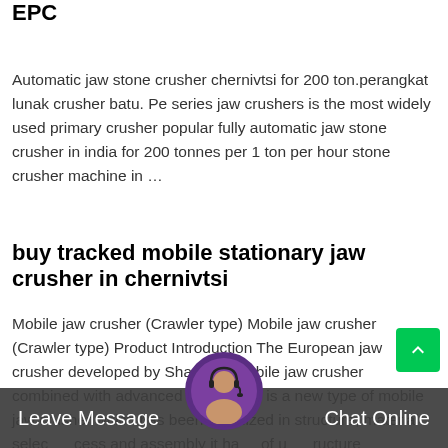EPC
Automatic jaw stone crusher chernivtsi for 200 ton.perangkat lunak crusher batu. Pe series jaw crushers is the most widely used primary crusher popular fully automatic jaw stone crusher in india for 200 tonnes per 1 ton per hour stone crusher machine in …
buy tracked mobile stationary jaw crusher in chernivtsi
Mobile jaw crusher (Crawler type) Mobile jaw crusher (Crawler type) Product Introduction The European jaw crusher developed by Shanghai mobile jaw crusher combined with advanced technology is a new type of mobile jaw crusher which has been optimized in structure, material selec cess and assembly it ha of u ructure